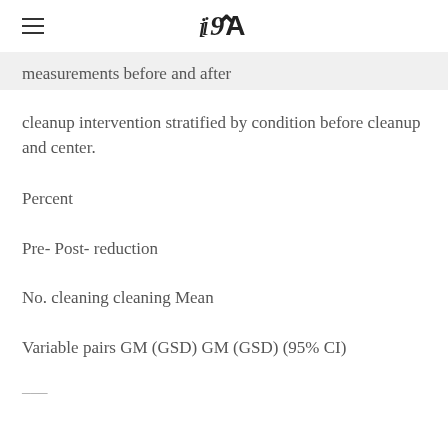iA
measurements before and after
cleanup intervention stratified by condition before cleanup and center.
Percent
Pre- Post- reduction
No. cleaning cleaning Mean
Variable pairs GM (GSD) GM (GSD) (95% CI)